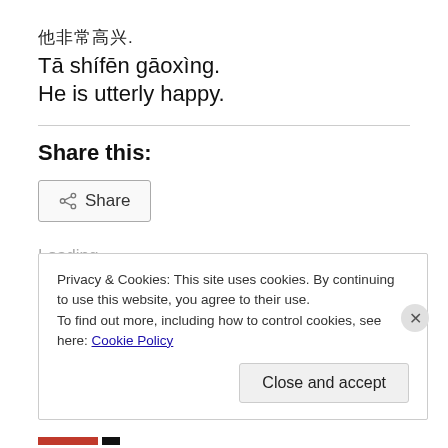他非常高兴.
Tā shífēn gāoxìng.
He is utterly happy.
Share this:
Share
Loading...
Privacy & Cookies: This site uses cookies. By continuing to use this website, you agree to their use.
To find out more, including how to control cookies, see here: Cookie Policy
Close and accept